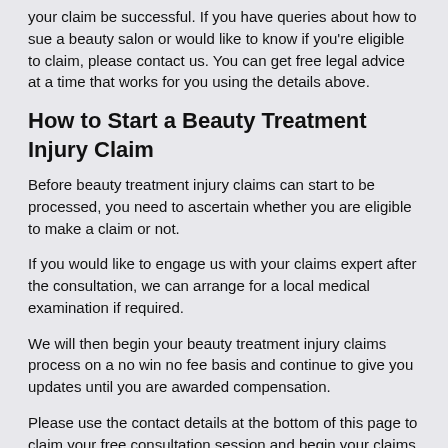your claim be successful. If you have queries about how to sue a beauty salon or would like to know if you're eligible to claim, please contact us. You can get free legal advice at a time that works for you using the details above.
How to Start a Beauty Treatment Injury Claim
Before beauty treatment injury claims can start to be processed, you need to ascertain whether you are eligible to make a claim or not.
If you would like to engage us with your claims expert after the consultation, we can arrange for a local medical examination if required.
We will then begin your beauty treatment injury claims process on a no win no fee basis and continue to give you updates until you are awarded compensation.
Please use the contact details at the bottom of this page to claim your free consultation session and begin your claims process right away.